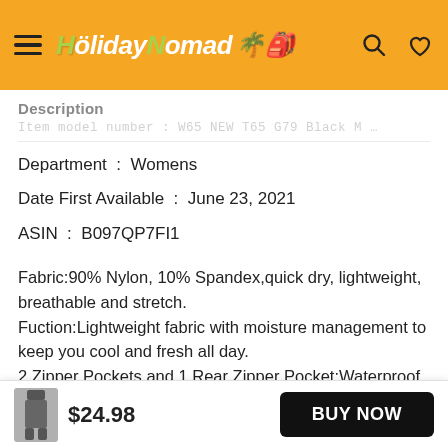HolidayNomad (logo with hamburger menu, search and heart icons)
Description
Item model number : W65 NEW T65 G79 Black M
Department : Womens
Date First Available : June 23, 2021
ASIN : B097QP7FI1
Fabric:90% Nylon, 10% Spandex,quick dry, lightweight, breathable and stretch. Fuction:Lightweight fabric with moisture management to keep you cool and fresh all day. 2 Zipper Pockets and 1 Rear Zipper Pocket:Waterproof zip-closure security deep
$24.98
BUY NOW